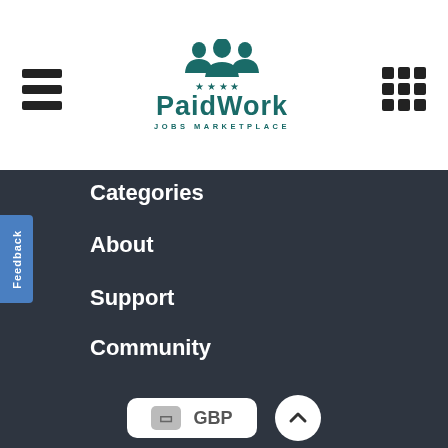[Figure (logo): PaidWork Jobs Marketplace logo with teal group of people icon and stars, text 'PaidWork' in teal bold, 'JOBS MARKETPLACE' subtitle]
Categories
About
Support
Community
PaidWork Social
[Figure (infographic): Row of 7 circular social media / loading spinner icons in light gray outline style]
GBP
Feedback